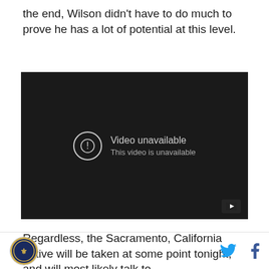the end, Wilson didn't have to do much to prove he has a lot of potential at this level.
[Figure (screenshot): Embedded YouTube video player showing 'Video unavailable. This video is unavailable.' message on a dark background.]
Regardless, the Sacramento, California native will be taken at some point tonight, and will most likely talk to
Logo icon, Twitter icon, Facebook icon